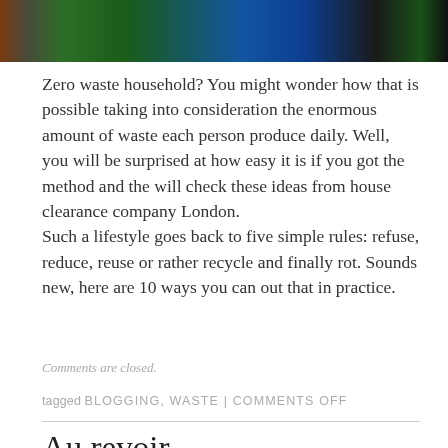[Figure (photo): Photo strip at top showing green, blue, and black recycling/waste bins]
Zero waste household? You might wonder how that is possible taking into consideration the enormous amount of waste each person produce daily. Well, you will be surprised at how easy it is if you got the method and the will check these ideas from house clearance company London.
Such a lifestyle goes back to five simple rules: refuse, reduce, reuse or rather recycle and finally rot. Sounds new, here are 10 ways you can out that in practice.
Comments are closed.
tagged BLOGGING, WASTE | COMMENTS OFF
Au revoir